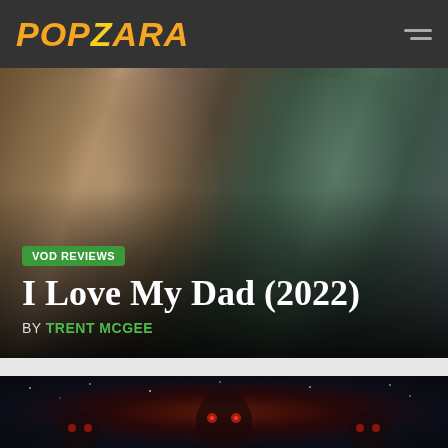POPZARA
[Figure (photo): Two men standing outdoors; one heavyset older man in a brown jacket on the left, one younger man in a dark teal shirt on the right, with suburban street visible in background.]
VOD REVIEWS
I Love My Dad (2022)
BY TRENT MCGEE
[Figure (illustration): Dark fantasy illustration with stylized creature characters featuring glowing red eyes and antlers, set against a night sky with stars.]